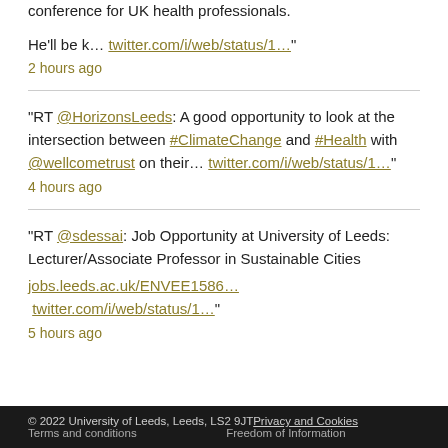conference for UK health professionals.
He'll be k… twitter.com/i/web/status/1…"
2 hours ago
"RT @HorizonsLeeds: A good opportunity to look at the intersection between #ClimateChange and #Health with @wellcometrust on their… twitter.com/i/web/status/1…"
4 hours ago
"RT @sdessai: Job Opportunity at University of Leeds: Lecturer/Associate Professor in Sustainable Cities jobs.leeds.ac.uk/ENVEE1586… twitter.com/i/web/status/1…"
5 hours ago
© 2022 University of Leeds, Leeds, LS2 9JT Privacy and Cookies